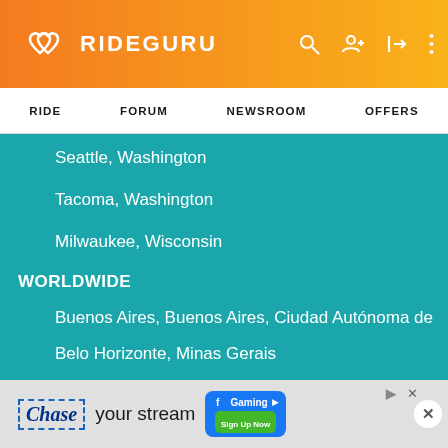RIDEGURU
RIDE  FORUM  NEWSROOM  OFFERS
Seattle, Washington
Tacoma, Washington
Milwaukee, Wisconsin
WORLDWIDE
Buenos Aires, Buenos Aires, Ciudad Autónoma de
Belo Horizonte, Minas Gerais
Rio de Janeiro, Brazil
São Paulo, Brazil
Tordi...
[Figure (screenshot): Advertisement banner: Chase your stream with Facebook Gaming Sign Up Now]